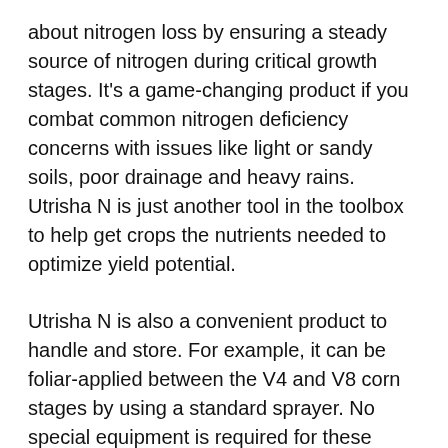about nitrogen loss by ensuring a steady source of nitrogen during critical growth stages. It's a game-changing product if you combat common nitrogen deficiency concerns with issues like light or sandy soils, poor drainage and heavy rains. Utrisha N is just another tool in the toolbox to help get crops the nutrients needed to optimize yield potential.
Utrisha N is also a convenient product to handle and store. For example, it can be foliar-applied between the V4 and V8 corn stages by using a standard sprayer. No special equipment is required for these applications.